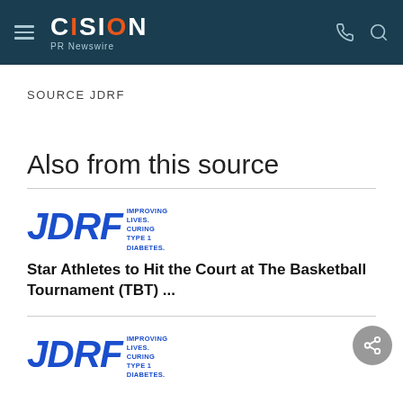CISION PR Newswire
SOURCE JDRF
Also from this source
[Figure (logo): JDRF logo — bold italic blue letters JDRF with tagline: IMPROVING LIVES. CURING TYPE 1 DIABETES.]
Star Athletes to Hit the Court at The Basketball Tournament (TBT) ...
[Figure (logo): JDRF logo — bold italic blue letters JDRF with tagline: IMPROVING LIVES. CURING TYPE 1 DIABETES.]